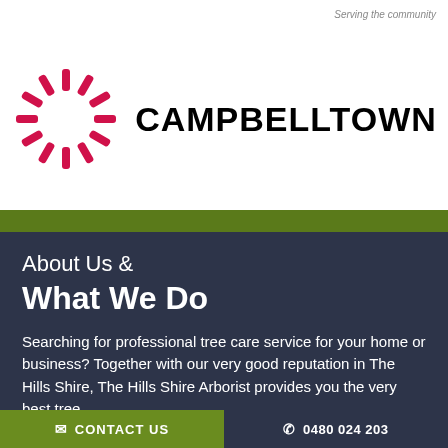Serving the community
[Figure (logo): Campbelltown logo with starburst/asterisk shape in pink/red and bold text CAMPBELLTOWN]
About Us & What We Do
Searching for professional tree care service for your home or business? Together with our very good reputation in The Hills Shire, The Hills Shire Arborist provides you the very best tree
CONTACT US   0480 024 203